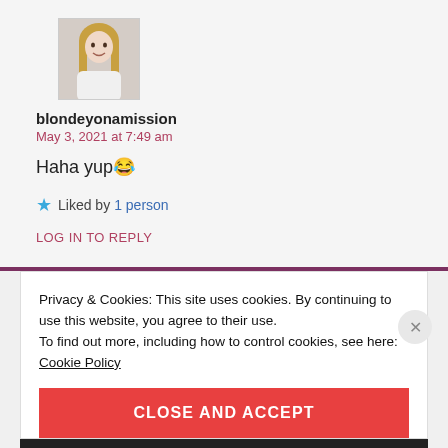[Figure (photo): Profile photo thumbnail of a young woman with long blonde hair, wearing white top]
blondeyonamission
May 3, 2021 at 7:49 am
Haha yup 😂
★ Liked by 1 person
LOG IN TO REPLY
Privacy & Cookies: This site uses cookies. By continuing to use this website, you agree to their use.
To find out more, including how to control cookies, see here:
Cookie Policy
CLOSE AND ACCEPT